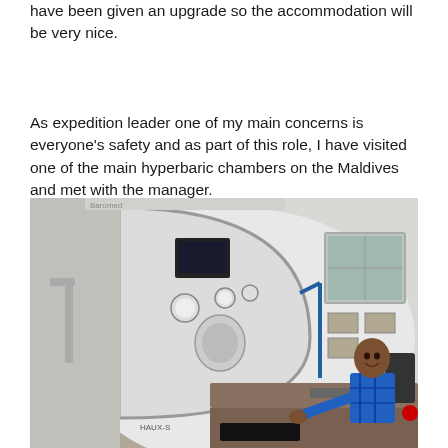have been given an upgrade so the accommodation will be very nice.
As expedition leader one of my main concerns is everyone's safety and as part of this role, I have visited one of the main hyperbaric chambers on the Maldives and met with the manager.
[Figure (photo): A man in a blue plaid shirt sits at a control desk in front of a large white hyperbaric chamber with gauges, dials, and a monitor mounted on its circular door. A window is visible on the right side of the room.]